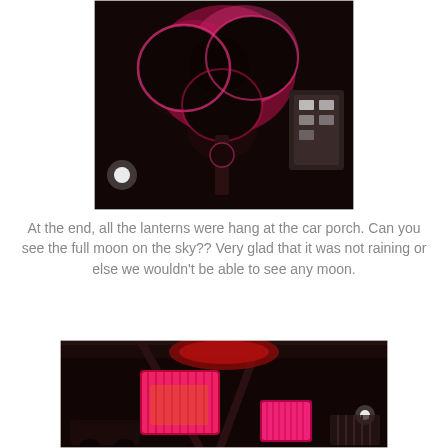[Figure (photo): Night-time photo showing a large dark flower-shaped lantern illuminated with bright pink and orange light, hanging from above, with dark background and faint lights of a building in the upper right corner.]
At the end, all the lanterns were hang at the car porch. Can you see the full moon on the sky?? Very glad that it was not raining or else we wouldn't be able to see any moon.
[Figure (photo): Night-time photo of a car porch with two bright pink/red square lanterns hanging from the ceiling, red lantern decoration visible above, and car visible in the background with outdoor lights.]